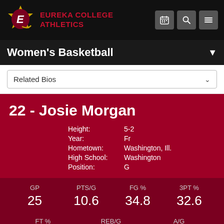EUREKA COLLEGE ATHLETICS
Women's Basketball
Related Bios
22 - Josie Morgan
| Field | Value |
| --- | --- |
| Height: | 5-2 |
| Year: | Fr |
| Hometown: | Washington, Ill. |
| High School: | Washington |
| Position: | G |
| GP | PTS/G | FG % | 3PT % |
| --- | --- | --- | --- |
| 25 | 10.6 | 34.8 | 32.6 |
| FT % | REB/G | A/G |
| --- | --- | --- |